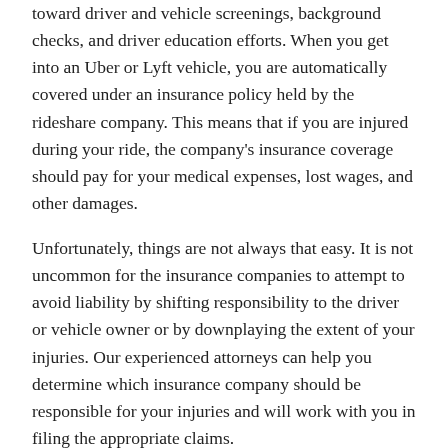toward driver and vehicle screenings, background checks, and driver education efforts. When you get into an Uber or Lyft vehicle, you are automatically covered under an insurance policy held by the rideshare company. This means that if you are injured during your ride, the company's insurance coverage should pay for your medical expenses, lost wages, and other damages.
Unfortunately, things are not always that easy. It is not uncommon for the insurance companies to attempt to avoid liability by shifting responsibility to the driver or vehicle owner or by downplaying the extent of your injuries. Our experienced attorneys can help you determine which insurance company should be responsible for your injuries and will work with you in filing the appropriate claims.
When You Are Hit By an Uber or Lyft Driver
If an Uber or Lyft or other ridesharing vehicle hit you...